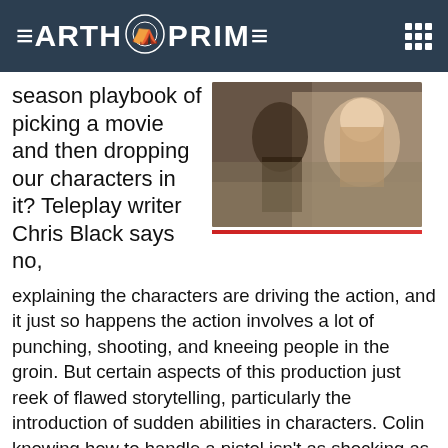EARTH PRIME
season playbook of picking a movie and then dropping our characters in it? Teleplay writer Chris Black says no,
[Figure (photo): Two people in a scene, one a younger blond person looking serious, the other partially visible beside them, appearing to be outdoors in a desert/arid setting]
explaining the characters are driving the action, and it just so happens the action involves a lot of punching, shooting, and kneeing people in the groin. But certain aspects of this production just reek of flawed storytelling, particularly the introduction of sudden abilities in characters. Colin knowing how to handle a pistol isn't as shocking as Rembrandt in the navy or Wade launching a musical career, but it comes out of left field. He's been in plenty of gun fights since joining the team and not once has he mentioned he was a